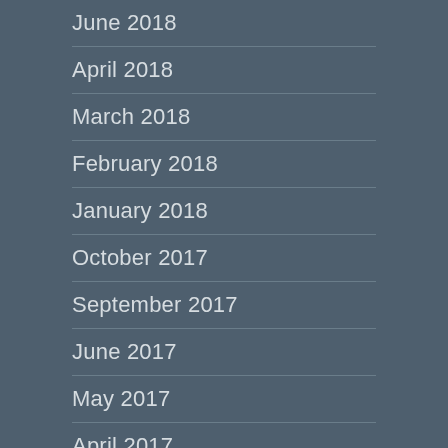June 2018
April 2018
March 2018
February 2018
January 2018
October 2017
September 2017
June 2017
May 2017
April 2017
March 2017